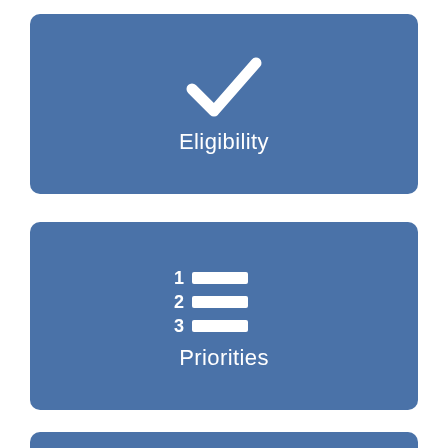[Figure (infographic): Blue rounded rectangle card with a white checkmark icon and the label 'Eligibility' below it]
[Figure (infographic): Blue rounded rectangle card with a white numbered list icon (1, 2, 3 with lines) and the label 'Priorities' below it]
[Figure (infographic): Blue rounded rectangle card (partially visible at bottom), cut off]